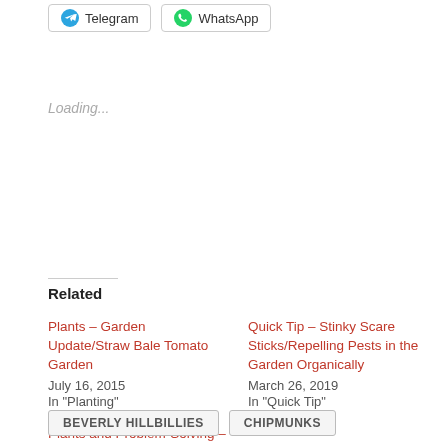[Figure (other): Telegram share button with icon]
[Figure (other): WhatsApp share button with icon]
Loading...
Related
Plants – Garden Update/Straw Bale Tomato Garden
July 16, 2015
In "Planting"
Quick Tip – Stinky Scare Sticks/Repelling Pests in the Garden Organically
March 26, 2019
In "Quick Tip"
Plants and Problem-Solving – Sunflowers in Bloom
August 12, 2016
In "Plants"
BEVERLY HILLBILLIES
CHIPMUNKS